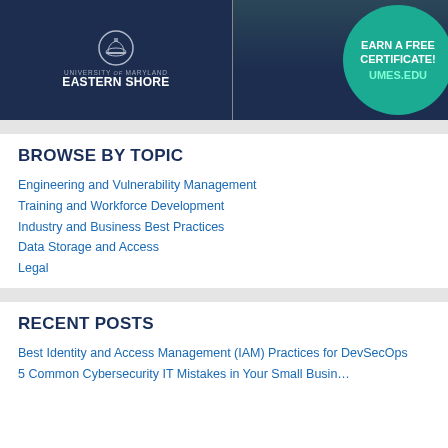[Figure (illustration): University of Maryland Eastern Shore advertisement banner: dark navy left panel with dome logo and school name, teal right circle panel with text 'EARN A FREE CERTIFICATE!' and 'UMES.EDU']
BROWSE BY TOPIC
Engineering and Vulnerability Management
Training and Workforce Development
Industry and Business Best Practices
Data Storage and Access
Legal
RECENT POSTS
Best Identity and Access Management (IAM) Practices for DevSecOps
5 Common Cybersecurity IT Mistakes in Your Small Business